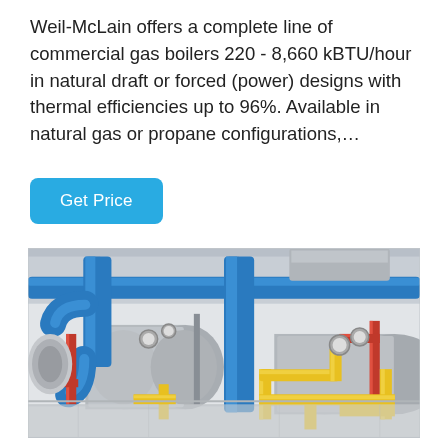Weil-McLain offers a complete line of commercial gas boilers 220 - 8,660 kBTU/hour in natural draft or forced (power) designs with thermal efficiencies up to 96%. Available in natural gas or propane configurations,…
Get Price
[Figure (photo): Industrial boiler room showing two large horizontal blue commercial gas boilers with blue, yellow, and red piping systems, gauges, and associated equipment on a white tiled floor.]